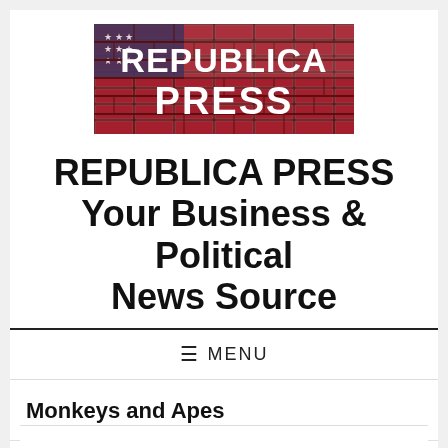[Figure (logo): Republica Press logo banner with American flag brick wall background and bold white text reading REPUBLICA PRESS]
REPUBLICA PRESS Your Business & Political News Source
≡  MENU
Monkeys and Apes